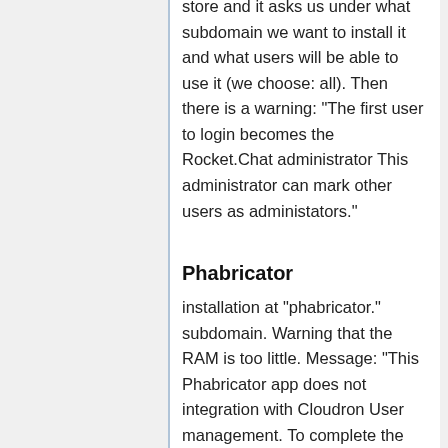store and it asks us under what subdomain we want to install it and what users will be able to use it (we choose: all). Then there is a warning: "The first user to login becomes the Rocket.Chat administrator This administrator can mark other users as administators."
Phabricator
installation at "phabricator." subdomain. Warning that the RAM is too little. Message: "This Phabricator app does not integration with Cloudron User management. To complete the installation, setup an administrative account and setup an Auth provider. If you accidentally log yourself out before adding an Auth provider, you must use the CLI tool to recover it (or simply re-